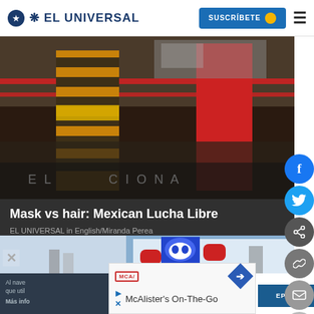EL UNIVERSAL | SUSCRÍBETE
[Figure (photo): Lucha libre wrestlers in tiger-striped and red costumes on a wrestling ring, crowd visible in background]
Mask vs hair: Mexican Lucha Libre
EL UNIVERSAL in English/Miranda Perea
[Figure (photo): Lucha libre wrestler with blue mask and red gloves raised in fighting pose against urban backdrop]
Al nave que util
Más info EPTO
McAlister's On-The-Go